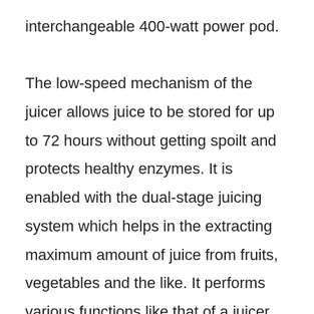interchangeable 400-watt power pod.

The low-speed mechanism of the juicer allows juice to be stored for up to 72 hours without getting spoilt and protects healthy enzymes. It is enabled with the dual-stage juicing system which helps in the extracting maximum amount of juice from fruits, vegetables and the like. It performs various functions like that of a juicer and grinder.